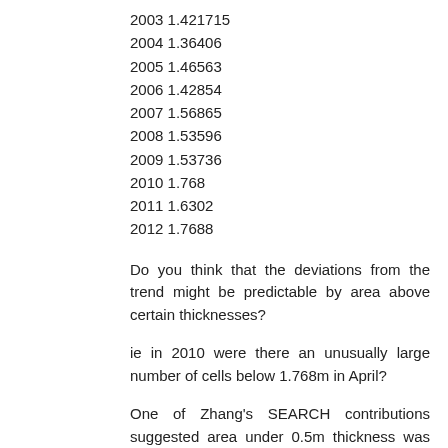2003 1.421715
2004 1.36406
2005 1.46563
2006 1.42854
2007 1.56865
2008 1.53596
2009 1.53736
2010 1.768
2011 1.6302
2012 1.7688
Do you think that the deviations from the trend might be predictable by area above certain thicknesses?
ie in 2010 were there an unusually large number of cells below 1.768m in April?
One of Zhang's SEARCH contributions suggested area under 0.5m thickness was their best predictor. I wonder if the thickness used each year has to change in line with the trend in the above typical thickness reduction numbers?